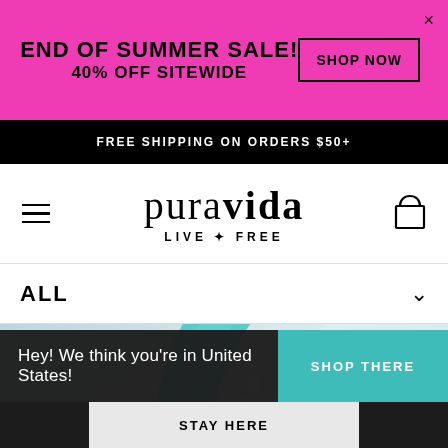END OF SUMMER SALE! 40% OFF SITEWIDE
FREE SHIPPING ON ORDERS $50+
[Figure (logo): Pura Vida logo with text 'pura vida LIVE FREE' and pineapple icon]
ALL
[Figure (photo): Close-up product photo showing a teal/turquoise bracelet or ring with white beads on a light background]
Hey! We think you're in United States!
SHOP THERE
STAY HERE